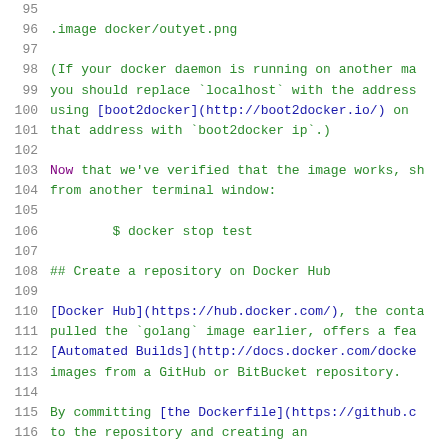96  .image docker/outyet.png
97
98  (If your docker daemon is running on another ma...
99  you should replace `localhost` with the address...
100 using [boot2docker](http://boot2docker.io/) on ...
101 that address with `boot2docker ip`.)
102
103 Now that we've verified that the image works, sh...
104 from another terminal window:
105
106     $ docker stop test
107
108 ## Create a repository on Docker Hub
109
110 [Docker Hub](https://hub.docker.com/), the conta...
111 pulled the `golang` image earlier, offers a fea...
112 [Automated Builds](http://docs.docker.com/docke...
113 images from a GitHub or BitBucket repository.
114
115 By committing [the Dockerfile](https://github.c...
116 to the repository and creating an